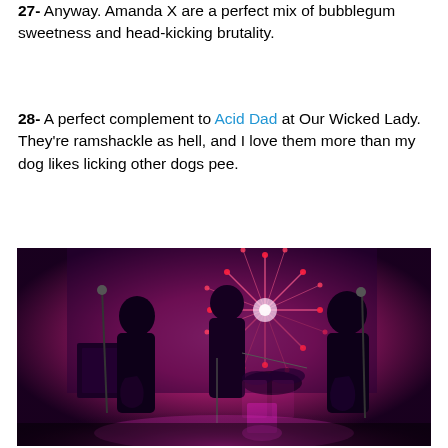27- Anyway. Amanda X are a perfect mix of bubblegum sweetness and head-kicking brutality.
28- A perfect complement to Acid Dad at Our Wicked Lady. They're ramshackle as hell, and I love them more than my dog likes licking other dogs pee.
[Figure (photo): Band performing on stage under pink/magenta lighting with a starburst light projection on the wall behind them. Three visible band members playing instruments, with drum kit in center-background.]